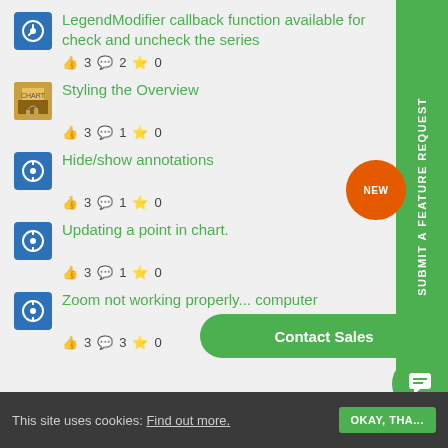LegendModifier callback function available for check and uncheck the series
👍 3 💬 2 ★ 0
Styling the Overview
👍 3 💬 1 ★ 0
Hide/show annotations
👍 3 💬 1 ★ 0
Updating a point in chart.
👍 3 💬 1 ★ 0
Zoom not working properly... computer
👍 3 💬 3 ★ 0
SUBMIT A FEATURE REQUEST
Contact Sales
This site uses cookies: Find out more.  OKAY, THA...